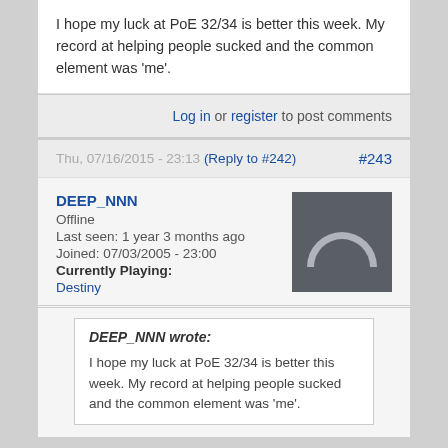I hope my luck at PoE 32/34 is better this week. My record at helping people sucked and the common element was 'me'.
Log in or register to post comments
Thu, 07/16/2015 - 23:13 (Reply to #242) #243
DEEP_NNN
Offline
Last seen: 1 year 3 months ago
Joined: 07/03/2005 - 23:00
Currently Playing:
Destiny
[Figure (illustration): User avatar: dark gray square with a white stylized person/profile icon (half circle arc and circle)]
DEEP_NNN wrote:
I hope my luck at PoE 32/34 is better this week. My record at helping people sucked and the common element was 'me'.